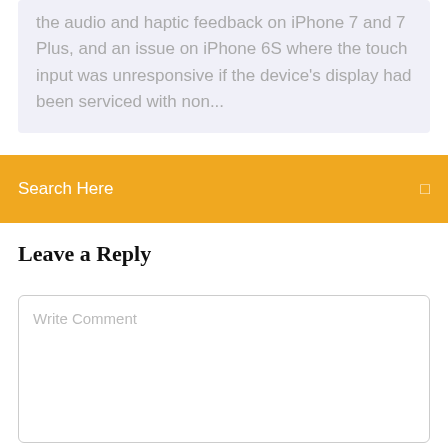the audio and haptic feedback on iPhone 7 and 7 Plus, and an issue on iPhone 6S where the touch input was unresponsive if the device's display had been serviced with non...
Search Here
Leave a Reply
Write Comment